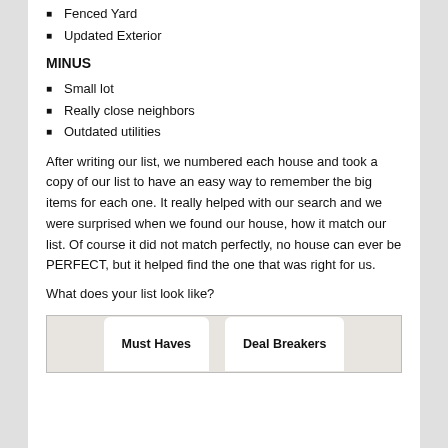Fenced Yard
Updated Exterior
MINUS
Small lot
Really close neighbors
Outdated utilities
After writing our list, we numbered each house and took a copy of our list to have an easy way to remember the big items for each one. It really helped with our search and we were surprised when we found our house, how it match our list. Of course it did not match perfectly, no house can ever be PERFECT, but it helped find the one that was right for us.
What does your list look like?
[Figure (photo): Image showing two white rounded boxes labeled 'Must Haves' and 'Deal Breakers' against a stone/brick background]